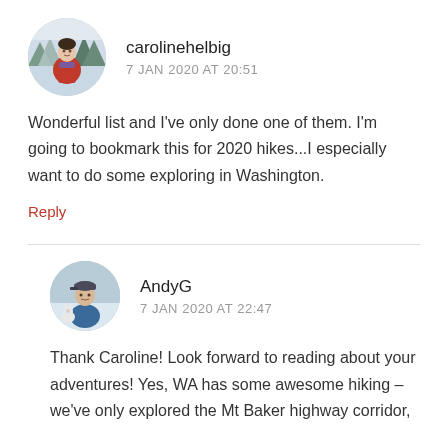[Figure (photo): Circular avatar photo of carolinehelbig wearing a red jacket outdoors with snowy trees in background]
carolinehelbig
7 JAN 2020 AT 20:51
Wonderful list and I've only done one of them. I'm going to bookmark this for 2020 hikes...I especially want to do some exploring in Washington.
Reply
[Figure (photo): Circular avatar photo of AndyG wearing a blue t-shirt and cap, standing outdoors with a white cat]
AndyG
7 JAN 2020 AT 22:47
Thank Caroline! Look forward to reading about your adventures! Yes, WA has some awesome hiking – we've only explored the Mt Baker highway corridor,